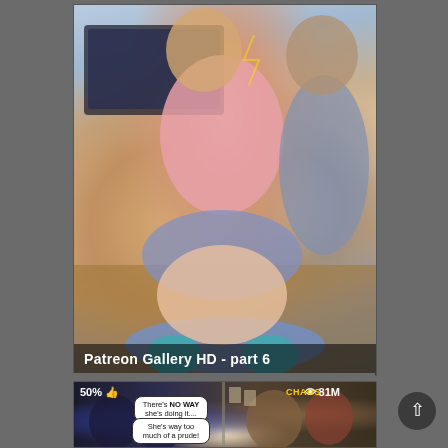[Figure (illustration): Furry/anime-style illustration showing anthropomorphic animal characters in a room with a TV. Main character in pink top and blue skirt/boots kneeling on a blue pillow. Text overlay reads 'Patreon Gallery HD - part 6'.]
Patreon Gallery HD - part 6
[Figure (illustration): Comic-style illustration panel showing figures with speech bubbles: 'There's NO WAY she's doing it....' and 'She's way too much of a prude!' Stats overlay: 50% thumbs-up, 81M views, CHAOS label.]